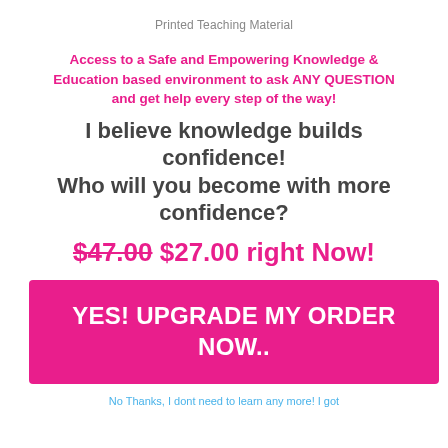Printed Teaching Material
Access to a Safe and Empowering Knowledge & Education based environment to ask ANY QUESTION and get help every step of the way!
I believe knowledge builds confidence! Who will you become with more confidence?
$47.00 $27.00 right Now!
YES! UPGRADE MY ORDER NOW..
No Thanks, I dont need to learn any more! I got